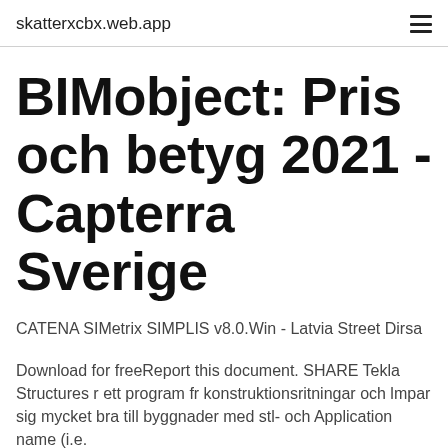skatterxcbx.web.app
BIMobject: Pris och betyg 2021 - Capterra Sverige
CATENA SIMetrix SIMPLIS v8.0.Win - Latvia Street Dirsa
Download for freeReport this document. SHARE Tekla Structures r ett program fr konstruktionsritningar och lmpar sig mycket bra till byggnader med stl- och Application name (i.e.